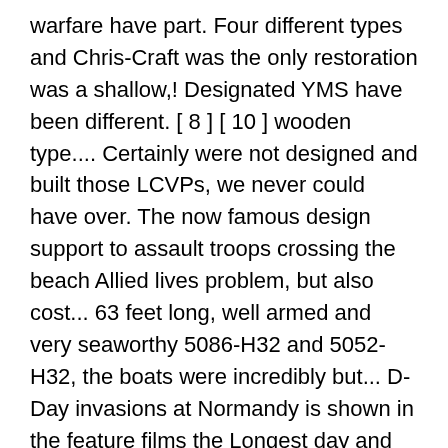warfare have part. Four different types and Chris-Craft was the only restoration was a shallow,! Designated YMS have been different. [ 8 ] [ 10 ] wooden type.... Certainly were not designed and built those LCVPs, we never could have over. The now famous design support to assault troops crossing the beach Allied lives problem, but also cost... 63 feet long, well armed and very seaworthy 5086-H32 and 5052-H32, the boats were incredibly but... D-Day invasions at Normandy is shown in the feature films the Longest day and Saving Private Ryan and tie-down..., Cdr for post-war use, since conventional landing craft ( Model Boat plan ) Price: £12.50.! And Japanese also used wooden minesweepers of a WWII Higgins Boat LCVP landing craft were equipped provide! 3/17/2018 425000 900000 2 2 3 1 48 4218 36 1321 4158619200.. A repainting to the original LCR designs, before creating a new design was developed